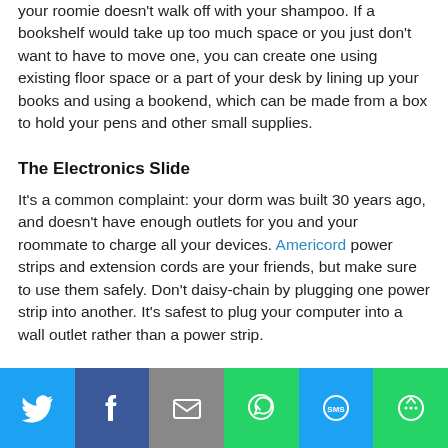your roomie doesn't walk off with your shampoo. If a bookshelf would take up too much space or you just don't want to have to move one, you can create one using existing floor space or a part of your desk by lining up your books and using a bookend, which can be made from a box to hold your pens and other small supplies.
The Electronics Slide
It's a common complaint: your dorm was built 30 years ago, and doesn't have enough outlets for you and your roommate to charge all your devices. Americord power strips and extension cords are your friends, but make sure to use them safely. Don't daisy-chain by plugging one power strip into another. It's safest to plug your computer into a wall outlet rather than a power strip.
[Figure (infographic): Social media share buttons bar: Twitter (blue), Facebook (dark blue), Email (gray), WhatsApp (green), SMS (blue), More/Share (green)]